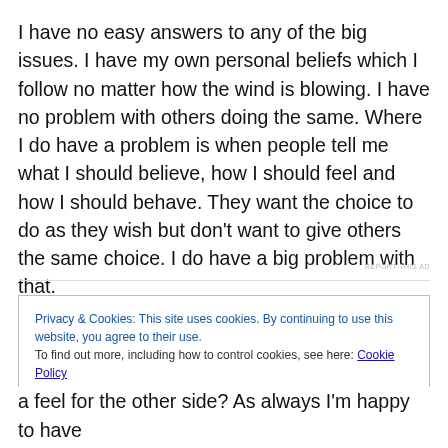I have no easy answers to any of the big issues. I have my own personal beliefs which I follow no matter how the wind is blowing. I have no problem with others doing the same. Where I do have a problem is when people tell me what I should believe, how I should feel and how I should behave. They want the choice to do as they wish but don't want to give others the same choice. I do have a big problem with that.
REPORT THIS AD
Privacy & Cookies: This site uses cookies. By continuing to use this website, you agree to their use.
To find out more, including how to control cookies, see here: Cookie Policy
Close and accept
a feel for the other side? As always I'm happy to have